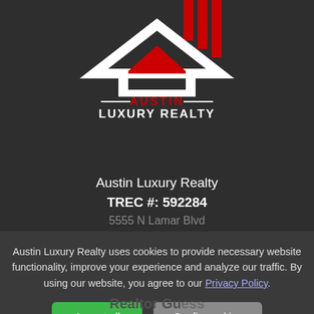[Figure (logo): Austin Luxury Realty logo: stylized house/chevron shape in white and red with vertical red stripes, text AUSTIN in red and LUXURY REALTY in white below]
Austin Luxury Realty
TREC #: 592284
5555 N Lamar Blvd
Suite B135
Austin Luxury Realty uses cookies to provide necessary website functionality, improve your experience and analyze our traffic. By using our website, you agree to our Privacy Policy.
Accept all
Config cookies